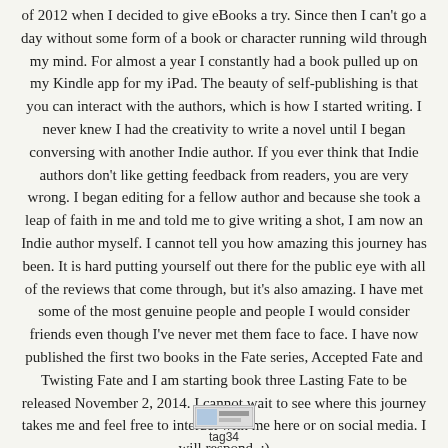of 2012 when I decided to give eBooks a try. Since then I can't go a day without some form of a book or character running wild through my mind. For almost a year I constantly had a book pulled up on my Kindle app for my iPad. The beauty of self-publishing is that you can interact with the authors, which is how I started writing. I never knew I had the creativity to write a novel until I began conversing with another Indie author. If you ever think that Indie authors don't like getting feedback from readers, you are very wrong. I began editing for a fellow author and because she took a leap of faith in me and told me to give writing a shot, I am now an Indie author myself. I cannot tell you how amazing this journey has been. It is hard putting yourself out there for the public eye with all of the reviews that come through, but it's also amazing. I have met some of the most genuine people and people I would consider friends even though I've never met them face to face. I have now published the first two books in the Fate series, Accepted Fate and Twisting Fate and I am starting book three Lasting Fate to be released November 2, 2014. I cannot wait to see where this journey takes me and feel free to interact with me here or on social media. I will respond. :)
[Figure (other): Small tag image icon with text 'tag34' below it]